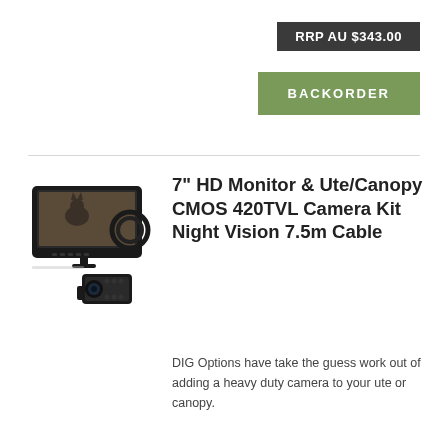RRP AU $343.00
BACKORDER
[Figure (photo): 7 inch HD monitor and CMOS camera kit with cable, shown as product photo]
7" HD Monitor & Ute/Canopy CMOS 420TVL Camera Kit Night Vision 7.5m Cable
DIG Options have take the guess work out of adding a heavy duty camera to your ute or canopy.
AU $250.00
13% OFF
RRP AU $288.00